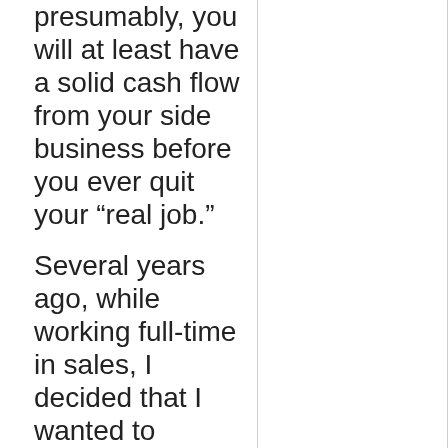presumably, you will at least have a solid cash flow from your side business before you ever quit your “real job.”
Several years ago, while working full-time in sales, I decided that I wanted to become a freelance writer. Like most people, I was worried about quitting my job and taking the leap. To play it safe, I began to take jobs on the